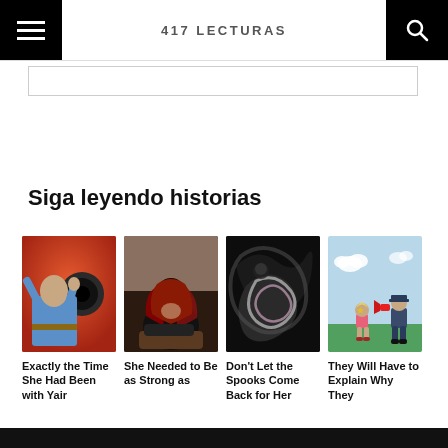417 LECTURAS
Siga leyendo historias
[Figure (illustration): Illustration of a man in blue shirt leaning back against orange-red background with dark circular shape]
[Figure (illustration): Illustration of a red-haired woman hunched over, head down, in dark clothing]
[Figure (illustration): Abstract dark painting with swirling black and white forms on dark background]
[Figure (illustration): Child's drawing of a small girl and a police officer with red megaphone on green grass, light blue sky]
Exactly the Time She Had Been with Yair
She Needed to Be as Strong as
Don't Let the Spooks Come Back for Her
They Will Have to Explain Why They